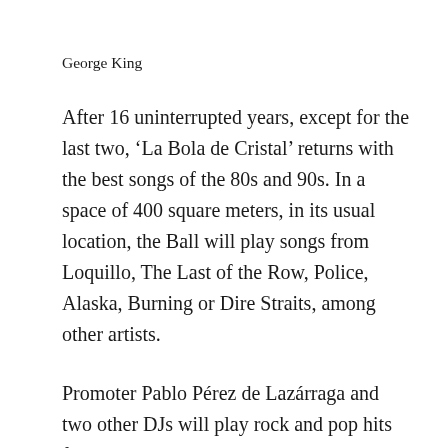George King
After 16 uninterrupted years, except for the last two, ‘La Bola de Cristal’ returns with the best songs of the 80s and 90s. In a space of 400 square meters, in its usual location, the Ball will play songs from Loquillo, The Last of the Row, Police, Alaska, Burning or Dire Straits, among other artists.
Promoter Pablo Pérez de Lazárraga and two other DJs will play rock and pop hits from two unique decades in an environment decorated by Miguel Gibello. Aimed at all audiences, ‘La